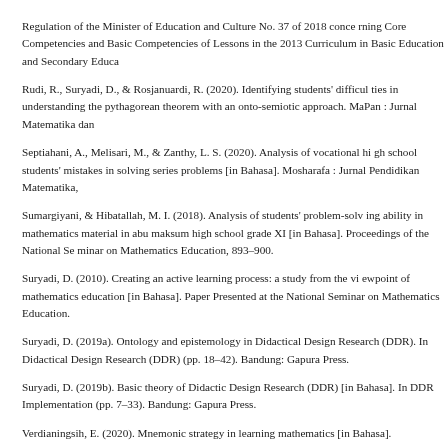Regulation of the Minister of Education and Culture No. 37 of 2018 concerning Core Competencies and Basic Competencies of Lessons in the 2013 Curriculum in Basic Education and Secondary Education.
Rudi, R., Suryadi, D., & Rosjanuardi, R. (2020). Identifying students' difficulties in understanding the pythagorean theorem with an onto-semiotic approach. MaPan : Jurnal Matematika dan Pembelajaran, ...
Septiahani, A., Melisari, M., & Zanthy, L. S. (2020). Analysis of vocational high school students' mistakes in solving series problems [in Bahasa]. Mosharafa : Jurnal Pendidikan Matematika, ...
Sumargiyani, & Hibatallah, M. I. (2018). Analysis of students' problem-solving ability in mathematics material in abu maksum high school grade XI [in Bahasa]. Proceedings of the National Seminar on Mathematics Education, 893–900.
Suryadi, D. (2010). Creating an active learning process: a study from the viewpoint of mathematics education [in Bahasa]. Paper Presented at the National Seminar on Mathematics Education.
Suryadi, D. (2019a). Ontology and epistemology in Didactical Design Research (DDR). In Didactical Design Research (DDR) (pp. 18–42). Bandung: Gapura Press.
Suryadi, D. (2019b). Basic theory of Didactic Design Research (DDR) [in Bahasa]. In DDR Implementation (pp. 7–33). Bandung: Gapura Press.
Verdianingsih, E. (2020). Mnemonic strategy in learning mathematics [in Bahasa].
Wahyuningrum, A. S., Suryadi, D., & Turmudi, T. (2019). Learning obstacles and proportion learning obstacles among Indonesian eighth graders on ratio and proportion. J. Phys.: Conf. Series, 1–8. https://doi.org/10.1088/1742-6596/1320/1/012046.